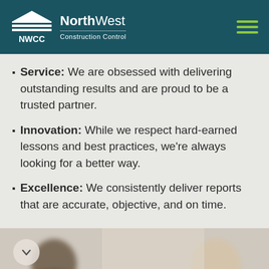NorthWest Construction Control
Service: We are obsessed with delivering outstanding results and are proud to be a trusted partner.
Innovation: While we respect hard-earned lessons and best practices, we're always looking for a better way.
Excellence: We consistently deliver reports that are accurate, objective, and on time.
[Figure (photo): Two people in a professional setting, blurred background, one man on the left and a woman on the right]